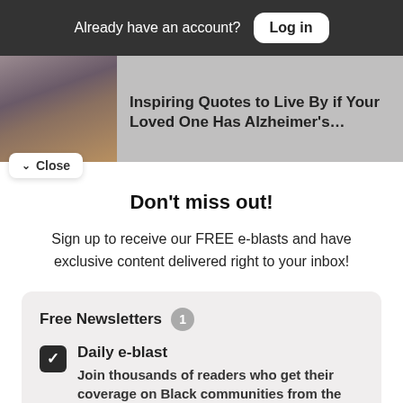Already have an account? Log in
Inspiring Quotes to Live By if Your Loved One Has Alzheimer's…
Close
Don't miss out!
Sign up to receive our FREE e-blasts and have exclusive content delivered right to your inbox!
Free Newsletters 1
Daily e-blast
Join thousands of readers who get their coverage on Black communities from the media company who has been doing it